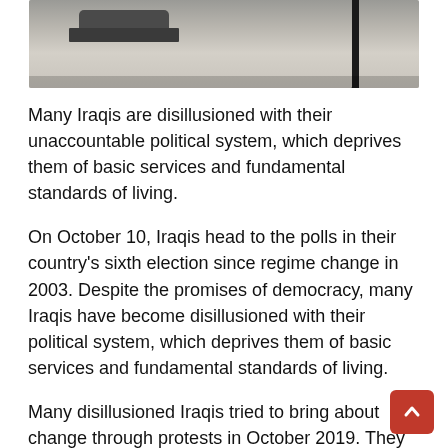[Figure (photo): Street scene photograph showing a pavement, a parked car, and a pole casting a shadow]
Many Iraqis are disillusioned with their unaccountable political system, which deprives them of basic services and fundamental standards of living.
On October 10, Iraqis head to the polls in their country's sixth election since regime change in 2003. Despite the promises of democracy, many Iraqis have become disillusioned with their political system, which deprives them of basic services and fundamental standards of living.
Many disillusioned Iraqis tried to bring about change through protests in October 2019. They believed their voice could be heard louder through mass demonstrations, instead of elections that only reinforced their corrupt political system.
Their demands were to put an end to the political elite's institutionalized corruption, and many asked for a change in